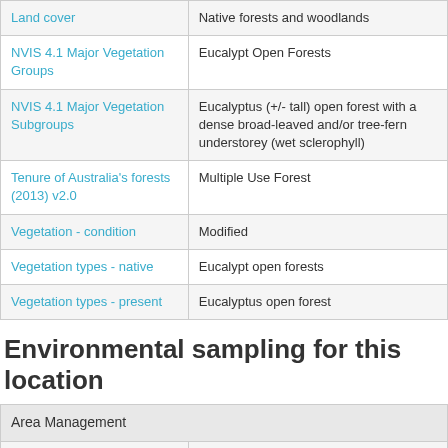|  |  |
| --- | --- |
| Land cover | Native forests and woodlands |
| NVIS 4.1 Major Vegetation Groups | Eucalypt Open Forests |
| NVIS 4.1 Major Vegetation Subgroups | Eucalyptus (+/- tall) open forest with a dense broad-leaved and/or tree-fern understorey (wet sclerophyll) |
| Tenure of Australia's forests (2013) v2.0 | Multiple Use Forest |
| Vegetation - condition | Modified |
| Vegetation types - native | Eucalypt open forests |
| Vegetation types - present | Eucalyptus open forest |
Environmental sampling for this location
| Area Management |  |
| --- | --- |
| Natural resource management expenditure | 4641911.0 $ |